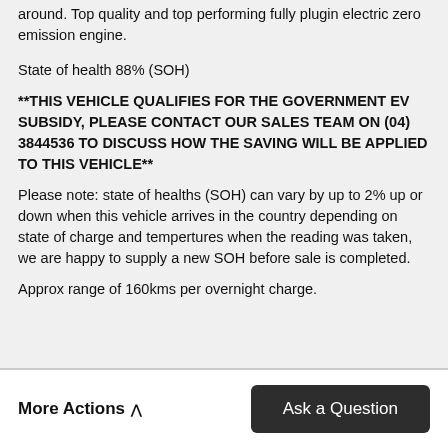around. Top quality and top performing fully plugin electric zero emission engine.
State of health 88% (SOH)
**THIS VEHICLE QUALIFIES FOR THE GOVERNMENT EV SUBSIDY, PLEASE CONTACT OUR SALES TEAM ON (04) 3844536 TO DISCUSS HOW THE SAVING WILL BE APPLIED TO THIS VEHICLE**
Please note: state of healths (SOH) can vary by up to 2% up or down when this vehicle arrives in the country depending on state of charge and tempertures when the reading was taken, we are happy to supply a new SOH before sale is completed.
Approx range of 160kms per overnight charge.
More Actions ∧
Ask a Question